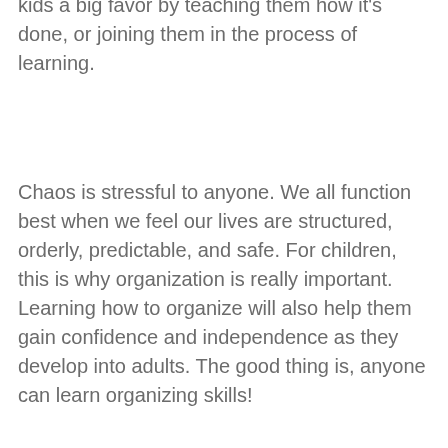matter of survival! But we parents can do our kids a big favor by teaching them how it's done, or joining them in the process of learning.
Chaos is stressful to anyone. We all function best when we feel our lives are structured, orderly, predictable, and safe. For children, this is why organization is really important. Learning how to organize will also help them gain confidence and independence as they develop into adults. The good thing is, anyone can learn organizing skills!